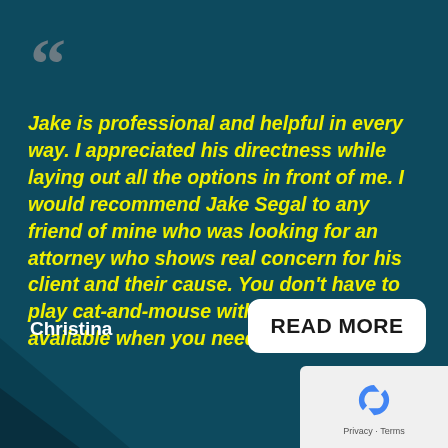[Figure (illustration): Large decorative opening double quotation mark in dark gray/teal on dark teal background]
Jake is professional and helpful in every way. I appreciated his directness while laying out all the options in front of me. I would recommend Jake Segal to any friend of mine who was looking for an attorney who shows real concern for his client and their cause. You don't have to play cat-and-mouse with him. He is available when you need him.
Christina
READ MORE
[Figure (logo): Google reCAPTCHA logo with privacy and terms text]